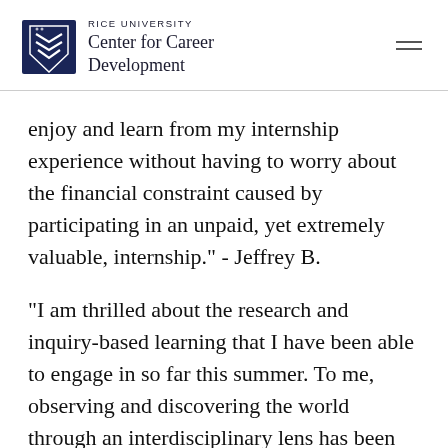RICE UNIVERSITY Center for Career Development
enjoy and learn from my internship experience without having to worry about the financial constraint caused by participating in an unpaid, yet extremely valuable, internship." - Jeffrey B.
“I am thrilled about the research and inquiry-based learning that I have been able to engage in so far this summer. To me, observing and discovering the world through an interdisciplinary lens has been